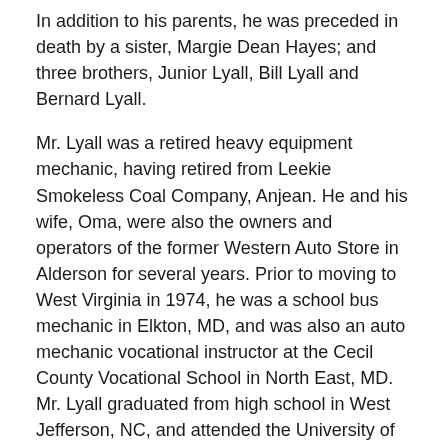In addition to his parents, he was preceded in death by a sister, Margie Dean Hayes; and three brothers, Junior Lyall, Bill Lyall and Bernard Lyall.
Mr. Lyall was a retired heavy equipment mechanic, having retired from Leekie Smokeless Coal Company, Anjean. He and his wife, Oma, were also the owners and operators of the former Western Auto Store in Alderson for several years. Prior to moving to West Virginia in 1974, he was a school bus mechanic in Elkton, MD, and was also an auto mechanic vocational instructor at the Cecil County Vocational School in North East, MD. Mr. Lyall graduated from high school in West Jefferson, NC, and attended the University of Maryland, College Park, MD. He was a United States Air Force Veteran having served our country during the Korean Conflict. Mr. Lyall was of the Baptist faith.
Survivors include his wife of 50 years, Oma Sco...